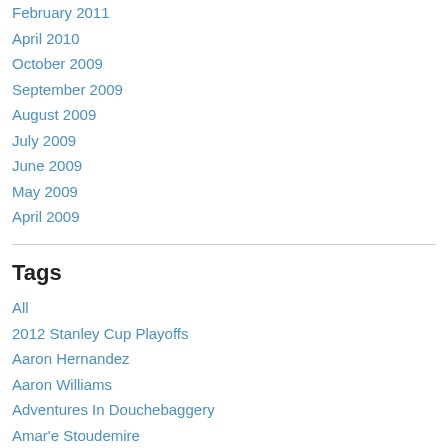February 2011
April 2010
October 2009
September 2009
August 2009
July 2009
June 2009
May 2009
April 2009
Tags
All
2012 Stanley Cup Playoffs
Aaron Hernandez
Aaron Williams
Adventures In Douchebaggery
Amar'e Stoudemire
Analytics
Andre Reed
Another Of Bol...